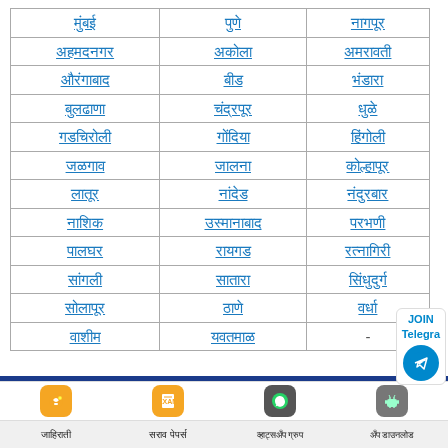| मुंबई | पुणे | नागपूर |
| अहमदनगर | अकोला | अमरावती |
| औरंगाबाद | बीड | भंडारा |
| बुलढाणा | चंद्रपूर | धुळे |
| गडचिरोली | गोंदिया | हिंगोली |
| जळगाव | जालना | कोल्हापूर |
| लातूर | नांदेड | नंदुरबार |
| नाशिक | उस्मानाबाद | परभणी |
| पालघर | रायगड | रत्नागिरी |
| सांगली | सातारा | सिंधुदुर्ग |
| सोलापूर | ठाणे | वर्धा |
| वाशीम | यवतमाळ | - |
जाहिराती | सराव पेपर्स | व्हाट्सअँप ग्रुप | अँप डाउनलोड